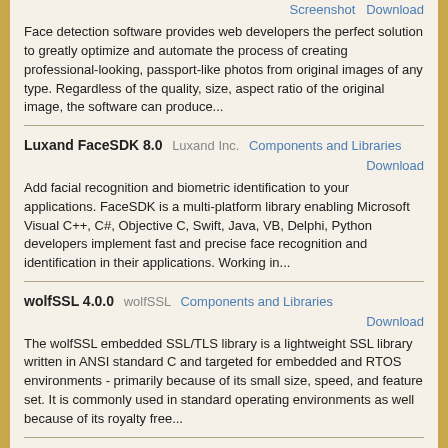Screenshot   Download
Face detection software provides web developers the perfect solution to greatly optimize and automate the process of creating professional-looking, passport-like photos from original images of any type. Regardless of the quality, size, aspect ratio of the original image, the software can produce...
Luxand FaceSDK 8.0   Luxand Inc.   Components and Libraries
Download
Add facial recognition and biometric identification to your applications. FaceSDK is a multi-platform library enabling Microsoft Visual C++, C#, Objective C, Swift, Java, VB, Delphi, Python developers implement fast and precise face recognition and identification in their applications. Working in...
wolfSSL 4.0.0   wolfSSL   Components and Libraries
Download
The wolfSSL embedded SSL/TLS library is a lightweight SSL library written in ANSI standard C and targeted for embedded and RTOS environments - primarily because of its small size, speed, and feature set. It is commonly used in standard operating environments as well because of its royalty free...
DTMF IVR SYSTEM IN VB.NET 9.7.0   DTMF IVR SYSTEM IN VB.NET   Components and Libraries
Screenshot   Download
Ozeki VoIP SIP .NET SDK allows to develop a DTMF navigated IVR system written in VB.NET. In this sample program an IVR tree is built up from .xml file